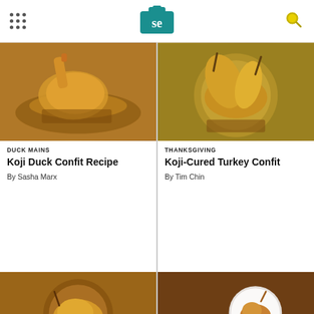Serious Eats logo
[Figure (photo): Duck leg being lifted from pan of braising liquid]
DUCK MAINS
Koji Duck Confit Recipe
By Sasha Marx
[Figure (photo): Turkey leg confit in pan with golden braising liquid]
THANKSGIVING
Koji-Cured Turkey Confit
By Tim Chin
[Figure (photo): Partial view of chicken/duck confit in round pan]
[Figure (photo): Partial view of roasted poultry leg on white plate]
We help people find answers, solve problems and get inspired.
Dotdash meredith